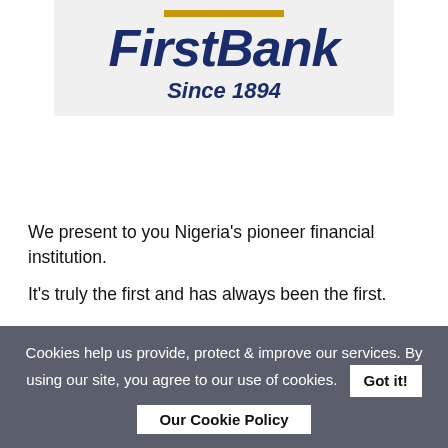[Figure (logo): FirstBank logo with gold bar, italic dark blue 'FirstBank' text, and 'Since 1894' tagline on light gray background]
We present to you Nigeria's pioneer financial institution.
It's truly the first and has always been the first.
Founded in 1894 as British Bank of Nigeria and later renamed First Bank of Nigeria in 1979.
At its christening, generally, the idea of banking was still alien to the Nigerian lot who were addicted to the cultural
Cookies help us provide, protect & improve our services. By using our site, you agree to our use of cookies.
Got it!
Our Cookie Policy